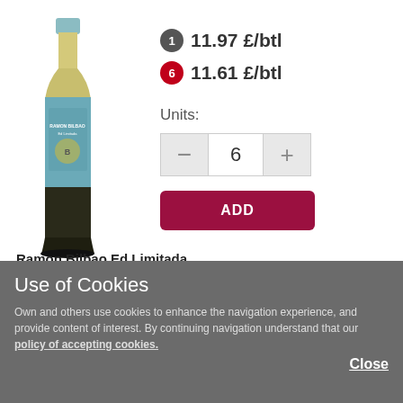[Figure (photo): Wine bottle of Ramon Bilbao Ed Limitada Verdejo with light blue label and gold capsule]
1  11.97 £/btl
6  11.61 £/btl
Units:
6
ADD
Ramon Bilbao Ed Limitada Verdejo
Use of Cookies
Own and others use cookies to enhance the navigation experience, and provide content of interest. By continuing navigation understand that our policy of accepting cookies.
Close